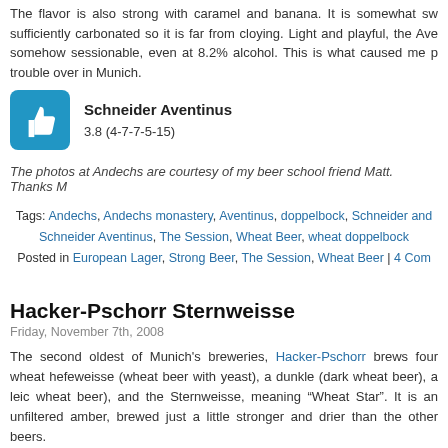The flavor is also strong with caramel and banana. It is somewhat sw sufficiently carbonated so it is far from cloying. Light and playful, the Ave somehow sessionable, even at 8.2% alcohol. This is what caused me trouble over in Munich.
[Figure (illustration): Blue thumbs up icon in rounded blue square]
Schneider Aventinus
3.8 (4-7-7-5-15)
The photos at Andechs are courtesy of my beer school friend Matt. Thanks M
Tags: Andechs, Andechs monastery, Aventinus, doppelbock, Schneider and Schneider Aventinus, The Session, Wheat Beer, wheat doppelbock
Posted in European Lager, Strong Beer, The Session, Wheat Beer | 4 Com
Hacker-Pschorr Sternweisse
Friday, November 7th, 2008
The second oldest of Munich's breweries, Hacker-Pschorr brews four wheat hefeweisse (wheat beer with yeast), a dunkle (dark wheat beer), a leich wheat beer), and the Sternweisse, meaning “Wheat Star”. It is an unfiltered amber, brewed just a little stronger and drier than the other beers.
[Figure (photo): Small photo thumbnail of beer]
The star pours a cloudy sandy brown, with hints of russet. The head is just-off-white, creamy, and lasts. The nose is quite strong of fresh bananas, with notes of clove and a hint of caramel.